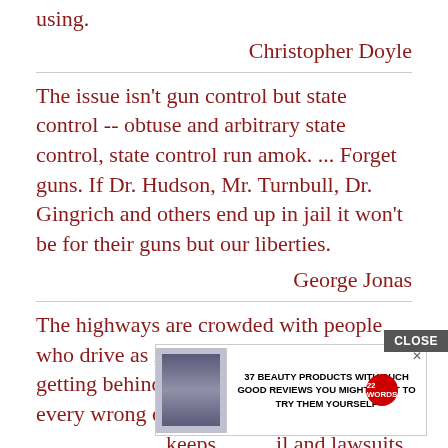using.
Christopher Doyle
The issue isn't gun control but state control -- obtuse and arbitrary state control, state control run amok. ... Forget guns. If Dr. Hudson, Mr. Turnbull, Dr. Gingrich and others end up in jail it won't be for their guns but our liberties.
George Jonas
The highways are crowded with people who drive as if their sole purpose in getting behind the wheel is to avenge every wrong done them by ma... keeps... il and lawsuits.